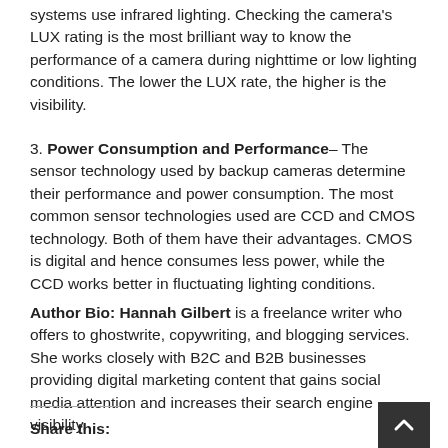systems use infrared lighting. Checking the camera's LUX rating is the most brilliant way to know the performance of a camera during nighttime or low lighting conditions. The lower the LUX rate, the higher is the visibility.
3. Power Consumption and Performance– The sensor technology used by backup cameras determine their performance and power consumption. The most common sensor technologies used are CCD and CMOS technology. Both of them have their advantages. CMOS is digital and hence consumes less power, while the CCD works better in fluctuating lighting conditions.
Author Bio: Hannah Gilbert is a freelance writer who offers to ghostwrite, copywriting, and blogging services. She works closely with B2C and B2B businesses providing digital marketing content that gains social media attention and increases their search engine visibility.
Share this: